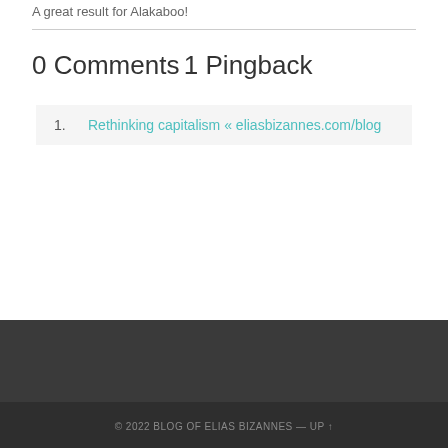A great result for Alakaboo!
0 Comments
1 Pingback
Rethinking capitalism « eliasbizannes.com/blog
© 2022 BLOG OF ELIAS BIZANNES — UP ↑